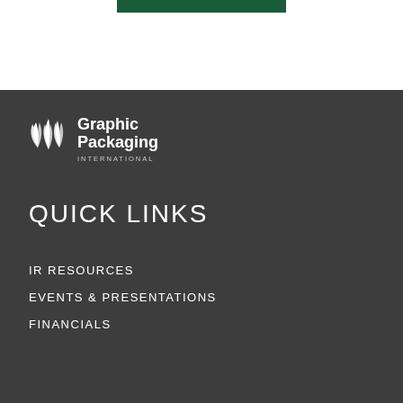[Figure (logo): Graphic Packaging International logo with white leaf/wheat icon and white text on dark background]
QUICK LINKS
IR RESOURCES
EVENTS & PRESENTATIONS
FINANCIALS